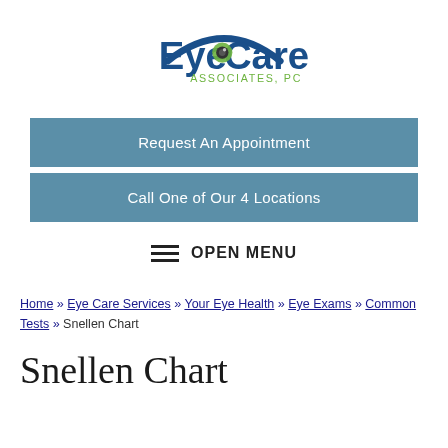[Figure (logo): EyeCare Associates, PC logo with eye graphic and blue/green text]
Request An Appointment
Call One of Our 4 Locations
OPEN MENU
Home » Eye Care Services » Your Eye Health » Eye Exams » Common Tests » Snellen Chart
Snellen Chart